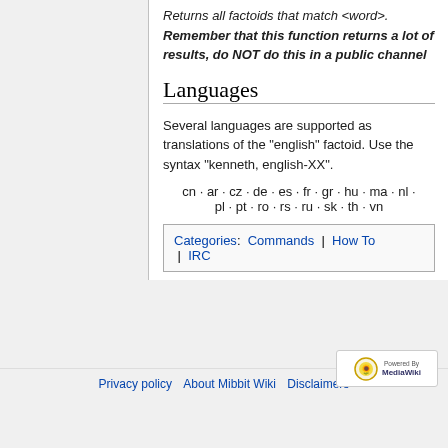Returns all factoids that match <word>. Remember that this function returns a lot of results, do NOT do this in a public channel
Languages
Several languages are supported as translations of the "english" factoid. Use the syntax "kenneth, english-XX".
cn · ar · cz · de · es · fr · gr · hu · ma · nl · pl · pt · ro · rs · ru · sk · th · vn
Categories: Commands | How To | IRC
Privacy policy   About Mibbit Wiki   Disclaimers